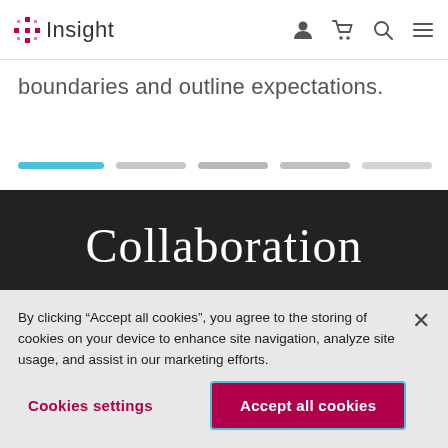Insight
boundaries and outline expectations.
[Figure (other): Pagination progress bar with 5 segments: first segment active in light blue, remaining four in gray]
Collaboration
By clicking “Accept all cookies”, you agree to the storing of cookies on your device to enhance site navigation, analyze site usage, and assist in our marketing efforts.
Cookies settings
Accept all cookies